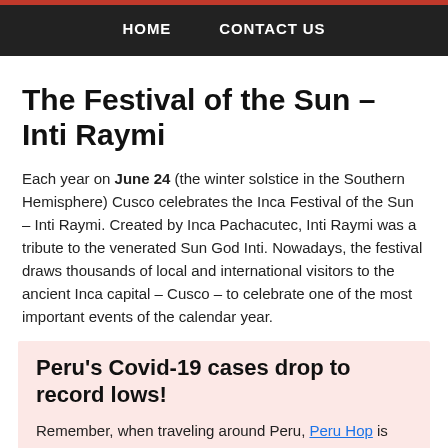HOME   CONTACT US
The Festival of the Sun – Inti Raymi
Each year on June 24 (the winter solstice in the Southern Hemisphere) Cusco celebrates the Inca Festival of the Sun – Inti Raymi. Created by Inca Pachacutec, Inti Raymi was a tribute to the venerated Sun God Inti. Nowadays, the festival draws thousands of local and international visitors to the ancient Inca capital – Cusco – to celebrate one of the most important events of the calendar year.
Peru's Covid-19 cases drop to record lows!
Remember, when traveling around Peru, Peru Hop is the